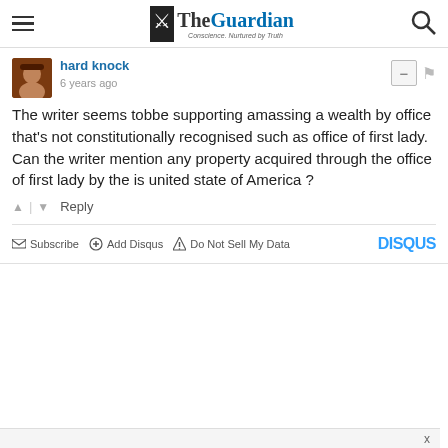The Guardian
hard knock
6 years ago
The writer seems tobbe supporting amassing a wealth by office that's not constitutionally recognised such as office of first lady. Can the writer mention any property acquired through the office of first lady by the is united state of America ?
↑ | ↓   Reply
Subscribe   Add Disqus   Do Not Sell My Data   DISQUS